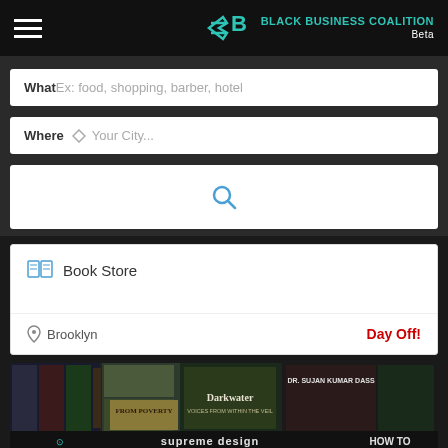BLACK BUSINESS COALITION Beta
What Ex: food, shopping, barber, hotel
Where Your City...
[Figure (screenshot): Search button with magnifying glass icon]
Book Store
Brooklyn
Day Off!
[Figure (photo): Book store collage image showing various books including Darkwater, From Poverty, Supreme Design, and other book covers]